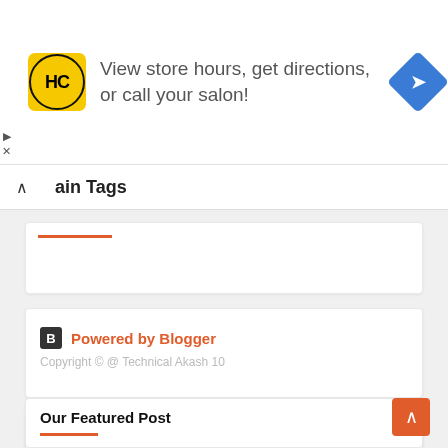[Figure (screenshot): Advertisement banner with HC salon logo (yellow/black), text 'View store hours, get directions, or call your salon!', and a blue navigation direction icon on the right. Small play and close icons on the left edge.]
ain Tags
[Figure (screenshot): White card with orange underline decoration]
[Figure (screenshot): White card showing Blogger icon (black B) and text 'Powered by Blogger' in orange, with copyright line 'Copyright © @ Technical Akash 10' in gray]
Our Featured Post